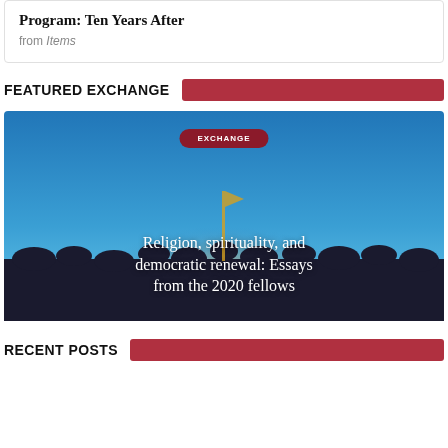Program: Ten Years After
from Items
FEATURED EXCHANGE
[Figure (photo): Featured exchange image showing crowd silhouettes against a blue sky with a glowing light source, overlaid with text badge 'EXCHANGE' and title 'Religion, spirituality, and democratic renewal: Essays from the 2020 fellows']
RECENT POSTS